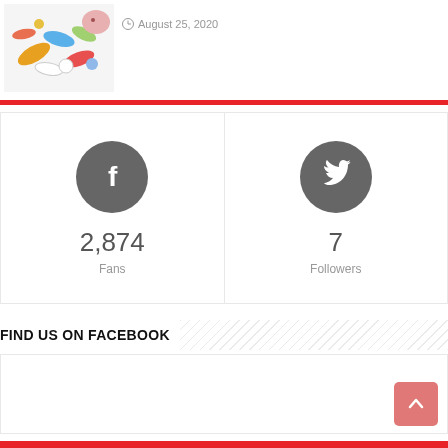[Figure (photo): Colorful pills and capsules scattered on white surface]
August 25, 2020
2,874
Fans
7
Followers
FIND US ON FACEBOOK